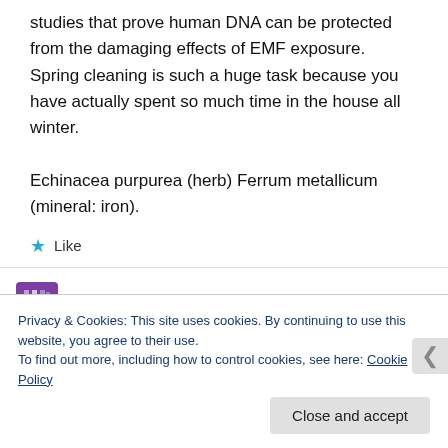studies that prove human DNA can be protected from the damaging effects of EMF exposure. Spring cleaning is such a huge task because you have actually spent so much time in the house all winter.
Echinacea purpurea (herb) Ferrum metallicum (mineral: iron).
★ Like
Shaun   REPLY
SEPTEMBER 1, 2014 AT 4:05 AM
Privacy & Cookies: This site uses cookies. By continuing to use this website, you agree to their use.
To find out more, including how to control cookies, see here: Cookie Policy
Close and accept